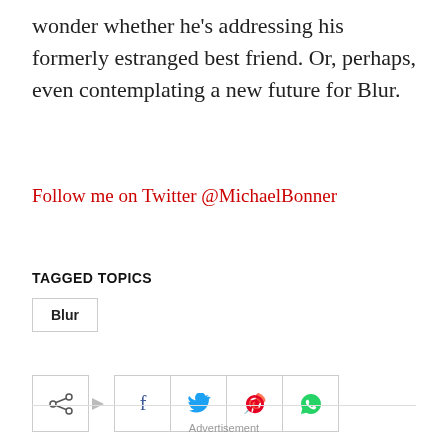wonder whether he's addressing his formerly estranged best friend. Or, perhaps, even contemplating a new future for Blur.
Follow me on Twitter @MichaelBonner
TAGGED TOPICS
Blur
[Figure (infographic): Social share buttons row: share icon with arrow, Facebook, Twitter, Pinterest, WhatsApp]
Advertisement